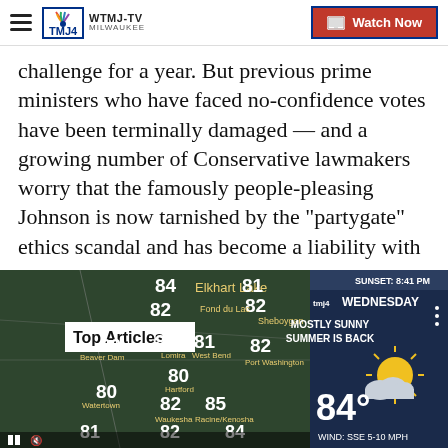WTMJ-TV MILWAUKEE | Watch Now
challenge for a year. But previous prime ministers who have faced no-confidence votes have been terminally damaged — and a growing number of Conservative lawmakers worry that the famously people-pleasing Johnson is now tarnished by the "partygate" ethics scandal and has become a liability with voters.
Recent Stories from wtmj4.com
[Figure (screenshot): Weather forecast screenshot showing Wisconsin map with temperatures in the low 80s, and Wednesday forecast panel showing 'MOSTLY SUNNY SUMMER IS BACK', 84 degrees, WIND: SSE 5-10 MPH. Top Articles label visible. TMJ4 logo in upper right of weather panel.]